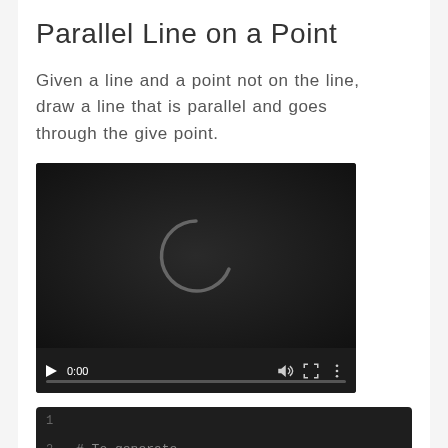Parallel Line on a Point
Given a line and a point not on the line, draw a line that is parallel and goes through the give point.
[Figure (screenshot): A video player with dark background showing a loading spinner arc, playback controls at the bottom including play button, time display 0:00, volume icon, fullscreen icon, and more options icon, with a progress bar at the bottom.]
[Figure (screenshot): A code editor block with dark background showing line numbers 1, 2, and a partial third line. Line 1 is empty. Line 2 shows '# To generate'. Line 3 (partial, cut off) shows 'manim_constructions.py ParallelLine'.]